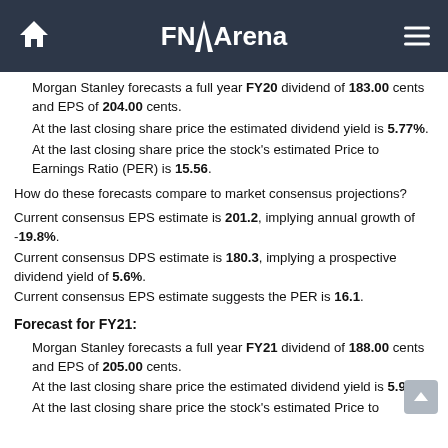FNArena
Morgan Stanley forecasts a full year FY20 dividend of 183.00 cents and EPS of 204.00 cents.
At the last closing share price the estimated dividend yield is 5.77%.
At the last closing share price the stock's estimated Price to Earnings Ratio (PER) is 15.56.
How do these forecasts compare to market consensus projections?
Current consensus EPS estimate is 201.2, implying annual growth of -19.8%.
Current consensus DPS estimate is 180.3, implying a prospective dividend yield of 5.6%.
Current consensus EPS estimate suggests the PER is 16.1.
Forecast for FY21:
Morgan Stanley forecasts a full year FY21 dividend of 188.00 cents and EPS of 205.00 cents.
At the last closing share price the estimated dividend yield is 5.92%.
At the last closing share price the stock's estimated Price to